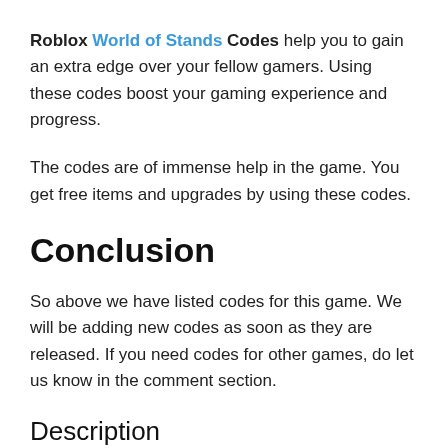Roblox World of Stands Codes help you to gain an extra edge over your fellow gamers. Using these codes boost your gaming experience and progress.
The codes are of immense help in the game. You get free items and upgrades by using these codes.
Conclusion
So above we have listed codes for this game. We will be adding new codes as soon as they are released. If you need codes for other games, do let us know in the comment section.
Description